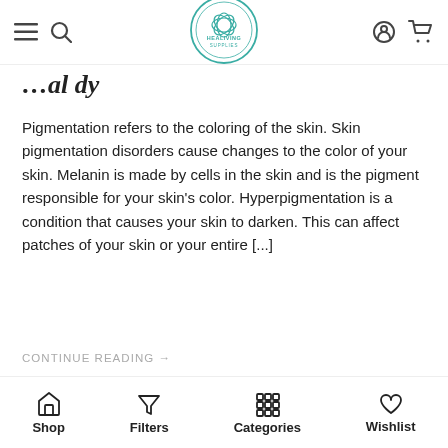[Figure (screenshot): Healiving Supplies website navigation bar with hamburger menu, search icon, logo, user icon, and cart icon]
…al dy
Pigmentation refers to the coloring of the skin. Skin pigmentation disorders cause changes to the color of your skin. Melanin is made by cells in the skin and is the pigment responsible for your skin's color. Hyperpigmentation is a condition that causes your skin to darken. This can affect patches of your skin or your entire [...]
CONTINUE READING →
[Figure (illustration): Green promotional banner for Healiving Supplies with logo and text 'Consume 2 Capsules of Clear-Ne-Tive Everyday']
Shop   Filters   Categories   Wishlist